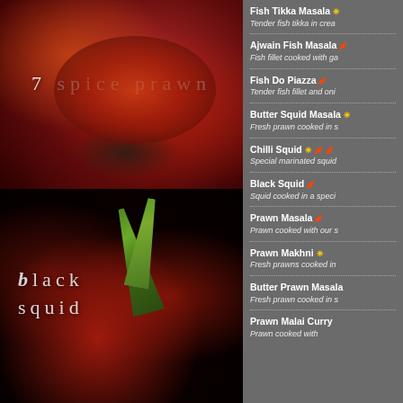[Figure (photo): Close-up photo of 7 spice prawn dish with spices and seasonings on red prawns]
[Figure (photo): Close-up photo of black squid dish with red squid rings, fresh herbs and dark sauce]
Fish Tikka Masala - Tender fish tikka in crea...
Ajwain Fish Masala - Fish fillet cooked with ga...
Fish Do Piazza - Tender fish fillet and oni...
Butter Squid Masala - Fresh prawn cooked in s...
Chilli Squid - Special marinated squid...
Black Squid - Squid cooked in a speci...
Prawn Masala - Prawn cooked with our s...
Prawn Makhni - Fresh prawns cooked in...
Butter Prawn Masala - Fresh prawn cooked in s...
Prawn Malai Curry - Prawn cooked with...